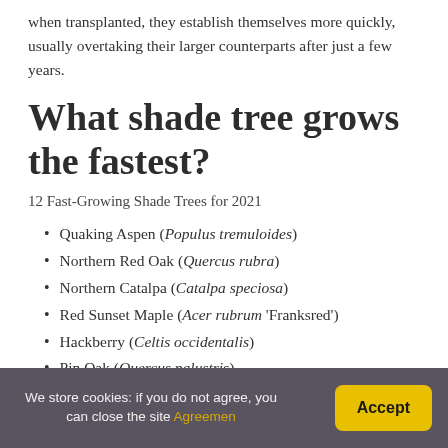when transplanted, they establish themselves more quickly, usually overtaking their larger counterparts after just a few years.
What shade tree grows the fastest?
12 Fast-Growing Shade Trees for 2021
Quaking Aspen (Populus tremuloides)
Northern Red Oak (Quercus rubra)
Northern Catalpa (Catalpa speciosa)
Red Sunset Maple (Acer rubrum 'Franksred')
Hackberry (Celtis occidentalis)
Pin Oak (Quercus palustris)
River Birch (Betula nigra)
We store cookies: if you do not agree, you can close the site Agreemen